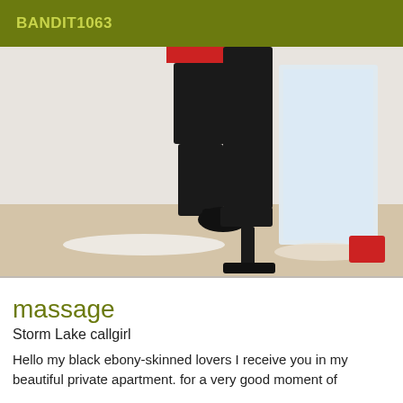BANDIT1063
[Figure (photo): Photo of a person's legs in black stockings and high heels, with red garter at top, standing in a room with light-colored floor and door visible in background.]
massage
Storm Lake callgirl
Hello my black ebony-skinned lovers I receive you in my beautiful private apartment. for a very good moment of